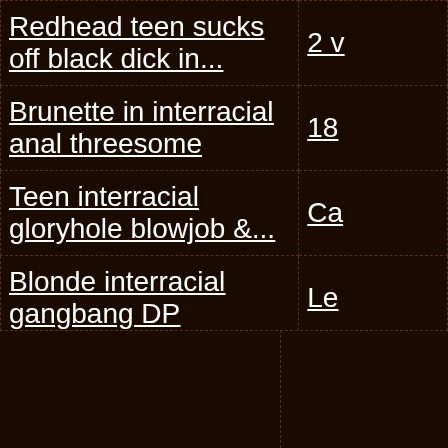| Title | Info |
| --- | --- |
| Redhead teen sucks off black dick in... | 2 v |
| Brunette in interracial anal threesome | 18 |
| Teen interracial gloryhole blowjob &... | Ca |
| Blonde interracial gangbang DP | Le |
| Blonde interracial cuckold fuck & cum... | Go |
| Asian teen gives interracial gloryhole... | Br |
Get access to 10